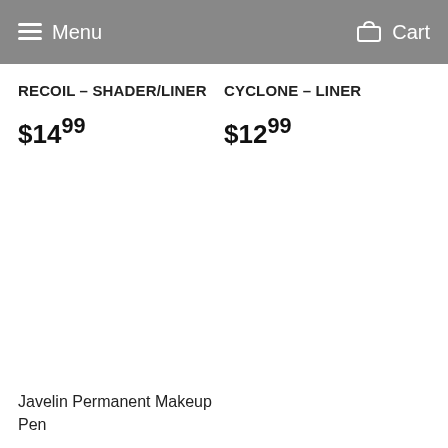Menu  Cart
RECOIL – SHADER/LINER
$14.99
CYCLONE – LINER
$12.99
Javelin Permanent Makeup Pen